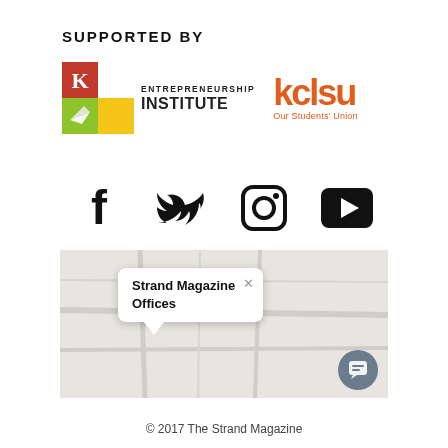SUPPORTED BY
[Figure (logo): Entrepreneurship Institute logo with K emblem and paper plane on green/red/yellow squares, alongside KCLSU Our Students' Union logo in orange]
[Figure (infographic): Social media icons: Facebook, Twitter, Instagram, YouTube]
[Figure (map): Google Maps screenshot showing a map popup labeled 'Strand Magazine Offices']
© 2017 The Strand Magazine